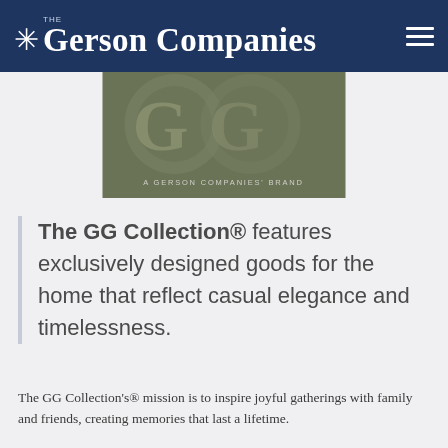The Gerson Companies
[Figure (logo): GG Collection brand logo on olive/khaki background with text 'A GERSON COMPANIES' BRAND']
The GG Collection® features exclusively designed goods for the home that reflect casual elegance and timelessness.
The GG Collection's® mission is to inspire joyful gatherings with family and friends, creating memories that last a lifetime.